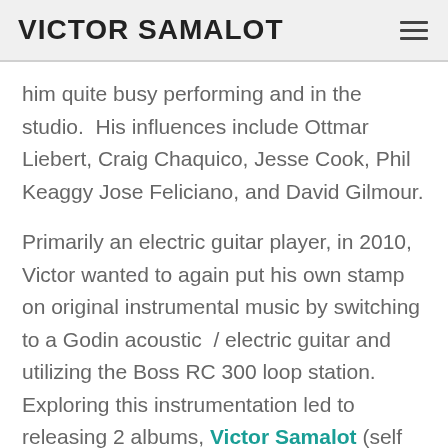VICTOR SAMALOT
him quite busy performing and in the studio.  His influences include Ottmar Liebert, Craig Chaquico, Jesse Cook, Phil Keaggy Jose Feliciano, and David Gilmour.
Primarily an electric guitar player, in 2010, Victor wanted to again put his own stamp on original instrumental music by switching to a Godin acoustic  / electric guitar and utilizing the Boss RC 300 loop station.  Exploring this instrumentation led to releasing 2 albums, Victor Samalot (self titled-2011) and Esperanza